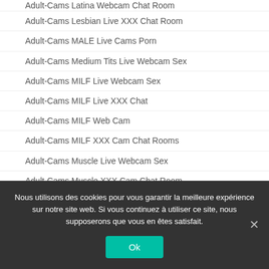Adult-Cams Latina Webcam Chat Room
Adult-Cams Lesbian Live XXX Chat Room
Adult-Cams MALE Live Cams Porn
Adult-Cams Medium Tits Live Webcam Sex
Adult-Cams MILF Live Webcam Sex
Adult-Cams MILF Live XXX Chat
Adult-Cams MILF Web Cam
Adult-Cams MILF XXX Cam Chat Rooms
Adult-Cams Muscle Live Webcam Sex
Adult-Cams Muscle XXX Cam Chat Room
Adult-Cams Petite Body Live XXX Chat
Nous utilisons des cookies pour vous garantir la meilleure expérience sur notre site web. Si vous continuez à utiliser ce site, nous supposerons que vous en êtes satisfait.